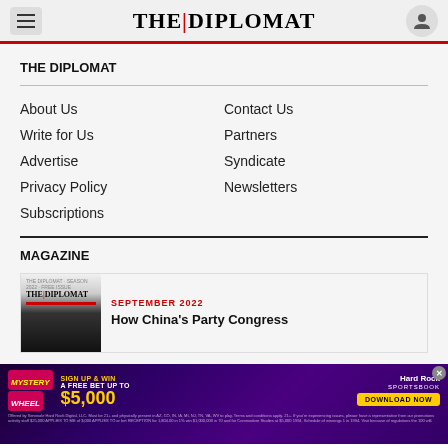THE DIPLOMAT
THE DIPLOMAT
About Us
Contact Us
Write for Us
Partners
Advertise
Syndicate
Privacy Policy
Newsletters
Subscriptions
MAGAZINE
[Figure (screenshot): The Diplomat magazine cover for September 2022]
SEPTEMBER 2022
How China's Party Congress